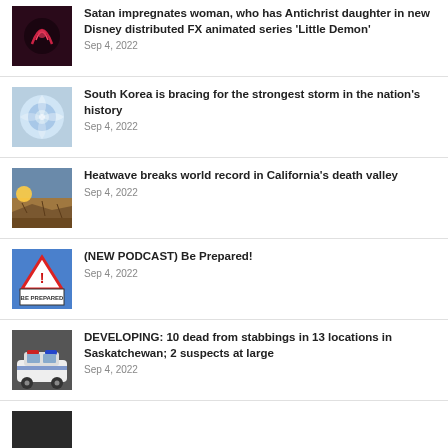Satan impregnates woman, who has Antichrist daughter in new Disney distributed FX animated series 'Little Demon'
Sep 4, 2022
South Korea is bracing for the strongest storm in the nation's history
Sep 4, 2022
Heatwave breaks world record in California's death valley
Sep 4, 2022
(NEW PODCAST) Be Prepared!
Sep 4, 2022
DEVELOPING: 10 dead from stabbings in 13 locations in Saskatchewan; 2 suspects at large
Sep 4, 2022